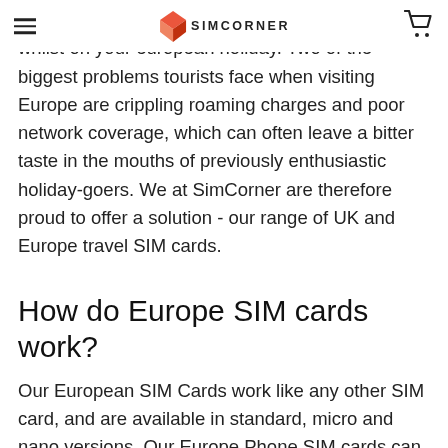SIMCORNER
would be a shame to not make the most of them whilst on your european holiday. Two of the biggest problems tourists face when visiting Europe are crippling roaming charges and poor network coverage, which can often leave a bitter taste in the mouths of previously enthusiastic holiday-goers. We at SimCorner are therefore proud to offer a solution - our range of UK and Europe travel SIM cards.
How do Europe SIM cards work?
Our European SIM Cards work like any other SIM card, and are available in standard, micro and nano versions. Our Europe Phone SIM cards can only be used in mobile phones, whilst our Europe Data Only SIMs can be used in a number of devices, including mobile phones, tablets and dongles. Simply place the